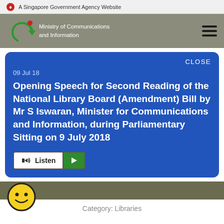A Singapore Government Agency Website
[Figure (logo): Ministry of Communications and Information logo with circular green arrow and red dot]
09 Jul 18
Opening Speech for Second Reading of the National Library Board (Amendment) Bill by Mr S Iswaran, Minister for Communications and Information, during Parliamentary Sitting on 9 July 2018
Listen
Category: Libraries